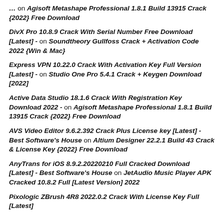…  on  Agisoft Metashape Professional 1.8.1 Build 13915 Crack {2022} Free Download
DivX Pro 10.8.9 Crack With Serial Number Free Download [Latest]  -  on  Soundtheory Gullfoss Crack + Activation Code 2022 {Win & Mac}
Express VPN 10.22.0 Crack With Activation Key Full Version [Latest] -  on  Studio One Pro 5.4.1 Crack + Keygen Download [2022]
Active Data Studio 18.1.6 Crack With Registration Key Download 2022 -  on  Agisoft Metashape Professional 1.8.1 Build 13915 Crack {2022} Free Download
AVS Video Editor 9.6.2.392 Crack Plus License key [Latest] - Best Software's House  on  Altium Designer 22.2.1 Build 43 Crack & License Key {2022} Free Download
AnyTrans for iOS 8.9.2.20220210 Full Cracked Download [Latest] - Best Software's House  on  JetAudio Music Player APK Cracked 10.8.2 Full [Latest Version] 2022
Pixologic ZBrush 4R8 2022.0.2 Crack With License Key Full [Latest]